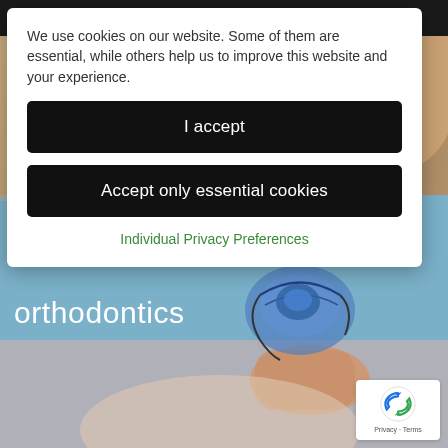[Figure (screenshot): Website screenshot showing a cookie consent modal over a dental/orthodontics website. The background shows a person holding a blue dental retainer, with 'orthodontics' text visible. A reCAPTCHA badge is in the bottom right corner.]
We use cookies on our website. Some of them are essential, while others help us to improve this website and your experience.
I accept
Accept only essential cookies
Individual Privacy Preferences
orthodontics
Privacy · Terms